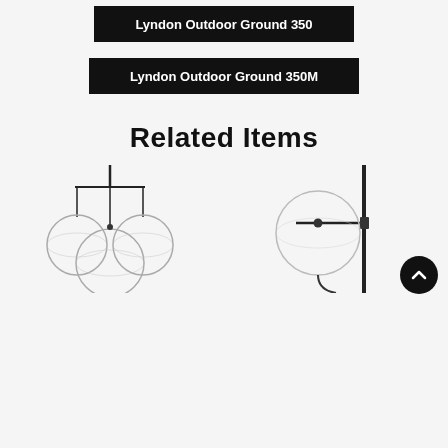Lyndon Outdoor Ground 350
Lyndon Outdoor Ground 350M
Related Items
[Figure (photo): A pendant chandelier with multiple large clear glass globe shades hanging from a black metal rod/stem fixture]
[Figure (photo): A wall-mounted or floor lamp with a large clear glass globe shade on a dark metal vertical pole with an arm bracket]